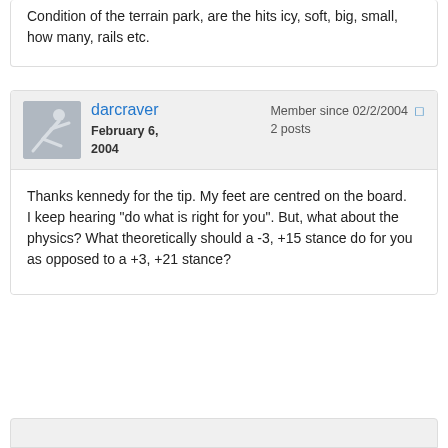Condition of the terrain park, are the hits icy, soft, big, small, how many, rails etc.
darcraver
February 6, 2004
Member since 02/2/2004
2 posts
Thanks kennedy for the tip. My feet are centred on the board.
I keep hearing "do what is right for you". But, what about the physics? What theoretically should a -3, +15 stance do for you as opposed to a +3, +21 stance?